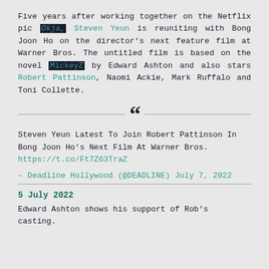Five years after working together on the Netflix pic Okja, Steven Yeun is reuniting with Bong Joon Ho on the director's next feature film at Warner Bros. The untitled film is based on the novel MickeyZ by Edward Ashton and also stars Robert Pattinson, Naomi Ackie, Mark Ruffalo and Toni Collette.
Steven Yeun Latest To Join Robert Pattinson In Bong Joon Ho's Next Film At Warner Bros. https://t.co/Ft7Z63TraZ

– Deadline Hollywood (@DEADLINE) July 7, 2022
5 July 2022
Edward Ashton shows his support of Rob's casting.